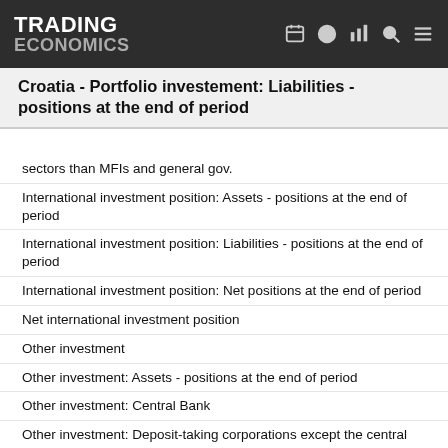TRADING ECONOMICS
Croatia - Portfolio investement: Liabilities - positions at the end of period
sectors than MFIs and general gov.
International investment position: Assets - positions at the end of period
International investment position: Liabilities - positions at the end of period
International investment position: Net positions at the end of period
Net international investment position
Other investment
Other investment: Assets - positions at the end of period
Other investment: Central Bank
Other investment: Deposit-taking corporations except the central bank
Other investment: Financial Corporations other than MFIs
Other investment: General Gov.
Other investment: Liabilities - positions at the end of period
Other investment: Monetary Financial Institutions (MFI)